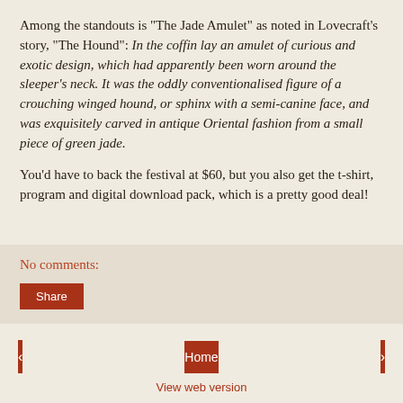Among the standouts is "The Jade Amulet" as noted in Lovecraft's story, "The Hound": In the coffin lay an amulet of curious and exotic design, which had apparently been worn around the sleeper's neck. It was the oddly conventionalised figure of a crouching winged hound, or sphinx with a semi-canine face, and was exquisitely carved in antique Oriental fashion from a small piece of green jade.
You'd have to back the festival at $60, but you also get the t-shirt, program and digital download pack, which is a pretty good deal!
No comments:
Share
< | Home | > | View web version